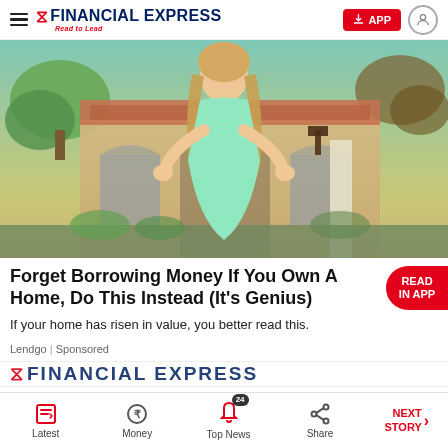FINANCIAL EXPRESS — Read to Lead | APP
[Figure (photo): Young blonde woman in a light green dress standing outdoors in front of a Spanish-style house with arched entryways and terracotta roof tiles]
Forget Borrowing Money If You Own A Home, Do This Instead (It's Genius)
If your home has risen in value, you better read this.
Lendgo | Sponsored
Latest | Money | Top News 24 | Share | NEXT STORY